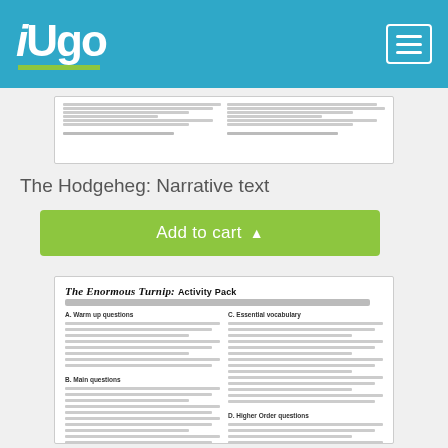iUgo
[Figure (screenshot): Preview thumbnail of a worksheet document with text lines]
The Hodgeheg: Narrative text
Add to cart
[Figure (screenshot): Preview of 'The Enormous Turnip: Activity Pack' worksheet with warm-up questions, main questions, essential vocabulary, and higher-order questions sections]